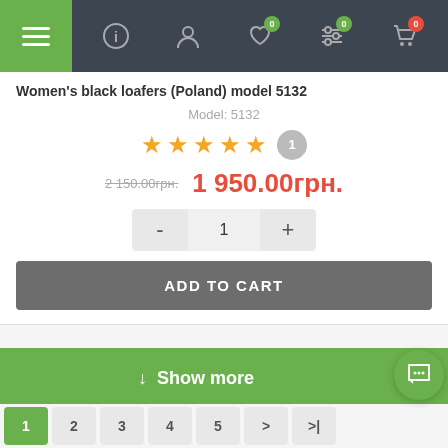Navigation bar with menu, info, account, wishlist (0), filters (0), cart (0)
Women's black loafers (Poland) model 5132
Model: 5132
[Figure (other): 5 yellow stars rating with 1 review bubble]
2 150.00грн.  1 950.00грн.
Quantity selector: - 1 +
ADD TO CART
↓  Show more
Pagination: 1 2 3 4 5 > >|